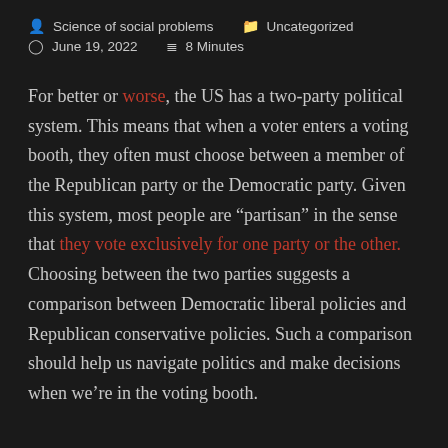Science of social problems   Uncategorized   June 19, 2022   8 Minutes
For better or worse, the US has a two-party political system. This means that when a voter enters a voting booth, they often must choose between a member of the Republican party or the Democratic party. Given this system, most people are “partisan” in the sense that they vote exclusively for one party or the other. Choosing between the two parties suggests a comparison between Democratic liberal policies and Republican conservative policies. Such a comparison should help us navigate politics and make decisions when we’re in the voting booth.